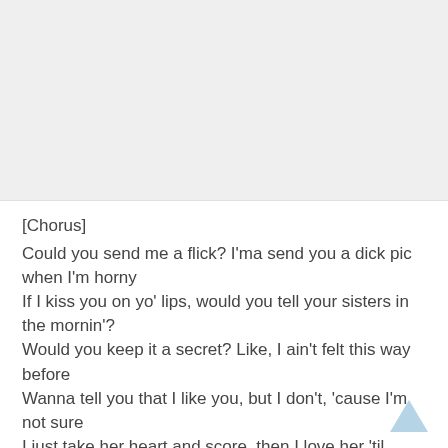[Chorus]
Could you send me a flick? I'ma send you a dick pic when I'm horny
If I kiss you on yo' lips, would you tell your sisters in the mornin'?
Would you keep it a secret? Like, I ain't felt this way before
Wanna tell you that I like you, but I don't, 'cause I'm not sure
I just take her heart and score, then I love her 'til